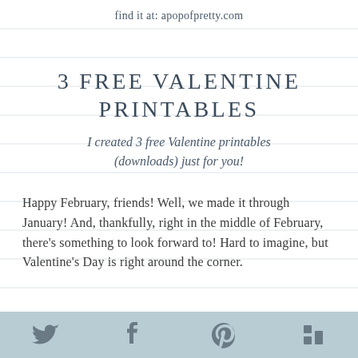find it at: apopofpretty.com
3 FREE VALENTINE PRINTABLES
I created 3 free Valentine printables (downloads) just for you!
Happy February, friends! Well, we made it through January! And, thankfully, right in the middle of February, there's something to look forward to! Hard to imagine, but Valentine's Day is right around the corner.
[Figure (other): Social media share bar with Twitter, Facebook, Pinterest, and Houzz icons on a light blue-grey background]